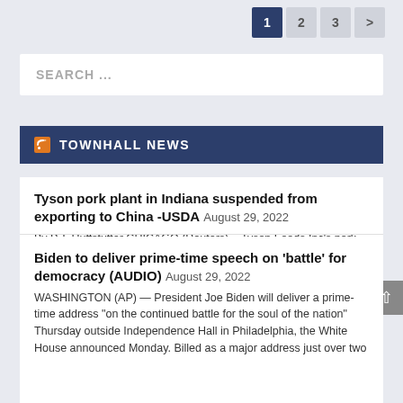1 2 3 >
SEARCH ...
TOWNHALL NEWS
Tyson pork plant in Indiana suspended from exporting to China -USDA August 29, 2022
By P.J. Huffstutter CHICAGO (Reuters) – Tyson Foods Inc's pork processing plant in Logansport, Indiana, has been suspended from exporting products to China, the U.S. Department of Agriculture said on Monday. The suspension is effective Aug. 29, the agency said. Neither USDA nor the company on Monday said why exports to China from the Tyson [...]
Biden to deliver prime-time speech on 'battle' for democracy (AUDIO) August 29, 2022
WASHINGTON (AP) — President Joe Biden will deliver a prime-time address "on the continued battle for the soul of the nation" Thursday outside Independence Hall in Philadelphia, the White House announced Monday. Billed as a major address just over two